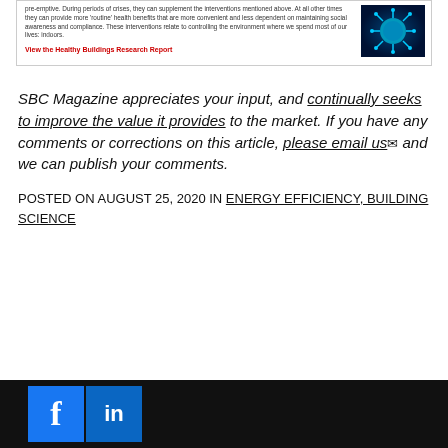pre-emptive. During periods of crises, they can supplement the interventions mentioned above. At all other times they can provide more 'routine' health benefits that are more convenient and less dependent on maintaining social awareness and compliance. These interventions relate to controlling the environment where we spend most of our lives: indoors.
View the Healthy Buildings Research Report
SBC Magazine appreciates your input, and continually seeks to improve the value it provides to the market. If you have any comments or corrections on this article, please email us and we can publish your comments.
POSTED ON AUGUST 25, 2020 IN ENERGY EFFICIENCY, BUILDING SCIENCE
[Figure (illustration): Blue microscopic virus/coronavirus particle image on dark blue background]
Social media icons: Facebook, LinkedIn